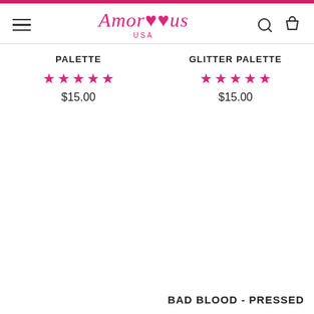Amor Us USA
PALETTE
★★★★★ $15.00
GLITTER PALETTE
★★★★★ $15.00
BAD BLOOD - PRESSED